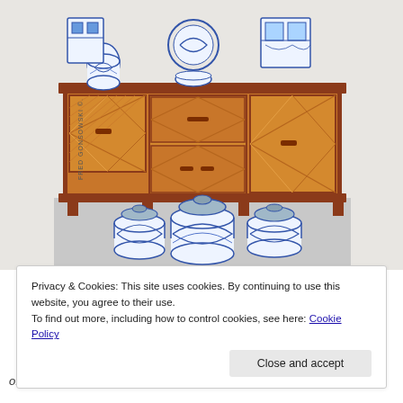[Figure (illustration): Hand-drawn colored sketch of a wooden sideboard/buffet with herringbone/chevron pattern doors and drawers, topped with blue and white Chinese porcelain vases, plates, jars and decorative objects. Below the sideboard on the floor are three large blue and white ginger jars. Artist signature 'FRED GONSOWSKI ©' appears vertically on the left side.]
Privacy & Cookies: This site uses cookies. By continuing to use this website, you agree to their use.
To find out more, including how to control cookies, see here: Cookie Policy
Close and accept
often seen paintings, prints, photos and sometimes